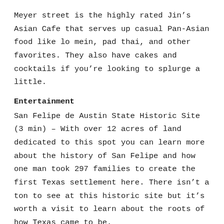Meyer street is the highly rated Jin's Asian Cafe that serves up casual Pan-Asian food like lo mein, pad thai, and other favorites. They also have cakes and cocktails if you're looking to splurge a little.
Entertainment
San Felipe de Austin State Historic Site (3 min) – With over 12 acres of land dedicated to this spot you can learn more about the history of San Felipe and how one man took 297 families to create the first Texas settlement here. There isn't a ton to see at this historic site but it's worth a visit to learn about the roots of how Texas came to be.
Stephen F. Austin Golf Course (9 min) – All along the outer edge of the pristine golf course, there are some great